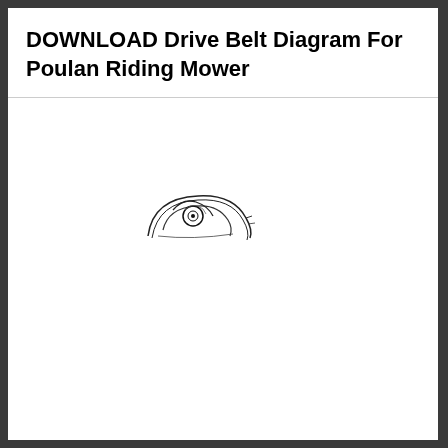DOWNLOAD Drive Belt Diagram For Poulan Riding Mower
[Figure (schematic): Partial schematic illustration of a drive belt pulley system for a Poulan riding mower, showing a small partially-visible pulley/belt arrangement in black and white line art.]